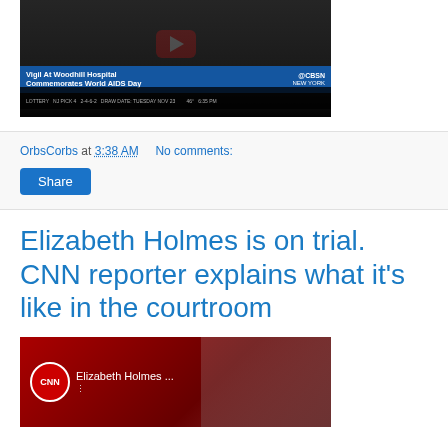[Figure (screenshot): YouTube video thumbnail showing CBSN New York broadcast with 'Vigil At Woodhill Hospital Commemorates World AIDS Day' lower-third banner and lottery ticker at bottom]
OrbsCorbs at 3:38 AM   No comments:
[Figure (screenshot): Share button (blue rounded rectangle)]
Elizabeth Holmes is on trial. CNN reporter explains what it's like in the courtroom
[Figure (screenshot): CNN YouTube video thumbnail showing Elizabeth Holmes with CNN logo circle, title 'Elizabeth Holmes ...' and a woman visible in the thumbnail]